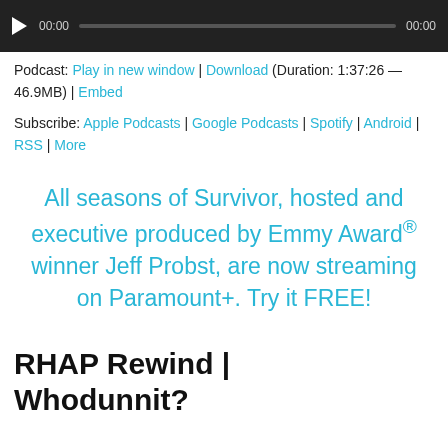[Figure (screenshot): Podcast audio player bar with play button, progress bar showing 00:00 and 00:00]
Podcast: Play in new window | Download (Duration: 1:37:26 — 46.9MB) | Embed
Subscribe: Apple Podcasts | Google Podcasts | Spotify | Android | RSS | More
All seasons of Survivor, hosted and executive produced by Emmy Award® winner Jeff Probst, are now streaming on Paramount+. Try it FREE!
RHAP Rewind | Whodunnit?